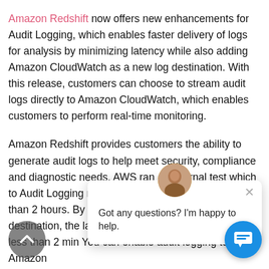Amazon Redshift now offers new enhancements for Audit Logging, which enables faster delivery of logs for analysis by minimizing latency while also adding Amazon CloudWatch as a new log destination. With this release, customers can choose to stream audit logs directly to Amazon CloudWatch, which enables customers to perform real-time monitoring.
Amazon Redshift provides customers the ability to generate audit logs to help meet security, compliance and diagnostic needs. AWS ran an internal test which [...] to Audit Logging re[...] with delivering log [...] hours to less than 2 hours. By adding Amazon CloudWatch as a log destination, the latency delivery is further reduced to less than 2 min[...] You can enable audit logging to Amazon
[Figure (other): Chat popup overlay with avatar photo of a person, close (X) button, and message 'Got any questions? I'm happy to help.' Also a blue circular chat button at bottom right and a grey scroll-to-top button at bottom left.]